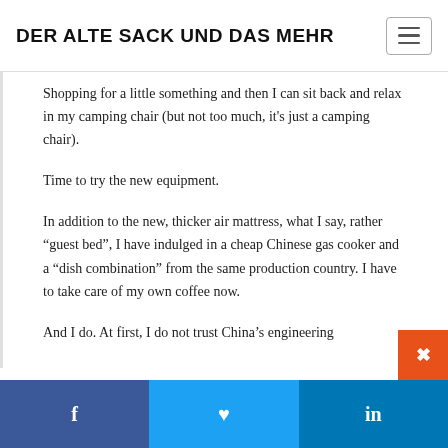DER ALTE SACK UND DAS MEHR
Shopping for a little something and then I can sit back and relax in my camping chair (but not too much, it’s just a camping chair).
Time to try the new equipment.
In addition to the new, thicker air mattress, what I say, rather “guest bed”, I have indulged in a cheap Chinese gas cooker and a “dish combination” from the same production country. I have to take care of my own coffee now.
And I do. At first, I do not trust China’s engineering
f   ♥   in